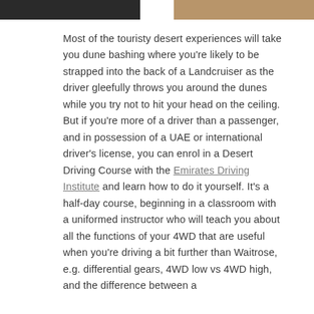[Figure (photo): Two photos side by side at top of page: left image shows a dark/shadowed scene, right image shows a sandy desert landscape]
Most of the touristy desert experiences will take you dune bashing where you're likely to be strapped into the back of a Landcruiser as the driver gleefully throws you around the dunes while you try not to hit your head on the ceiling. But if you're more of a driver than a passenger, and in possession of a UAE or international driver's license, you can enrol in a Desert Driving Course with the Emirates Driving Institute and learn how to do it yourself. It's a half-day course, beginning in a classroom with a uniformed instructor who will teach you about all the functions of your 4WD that are useful when you're driving a bit further than Waitrose, e.g. differential gears, 4WD low vs 4WD high, and the difference between a